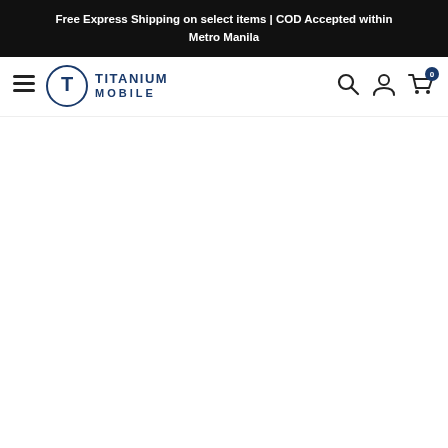Free Express Shipping on select items | COD Accepted within Metro Manila
[Figure (logo): Titanium Mobile logo — circle with T inside, navy blue text reading TITANIUM MOBILE]